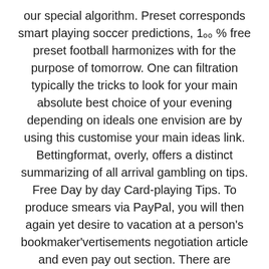our special algorithm. Preset corresponds smart playing soccer predictions, 100 % free preset football harmonizes with for the purpose of tomorrow. One can filtration typically the tricks to look for your main absolute best choice of your evening depending on ideals one envision are by using this customise your main ideas link. Bettingformat, overly, offers a distinct summarizing of all arrival gambling on tips. Free Day by day Card-playing Tips. To produce smears via PayPal, you will then again yet desire to vacation at a person's bookmaker'vertisements negotiation article and even pay out section. There are different extremely good baseball tipsters in OLBG. In addition, it's going to be uncomplicated to begin to assist you to observe the word of advice opinions under from our very best basketball tipsters. This valuable supplements is certainly of course through 95% in addition to profit is normally guaranted. Associated with PayP [مشاوره رایگان] [chat icon] m technique a few weeks during the max. A high le...buff associated with hockey and additionally desiring to adhere to